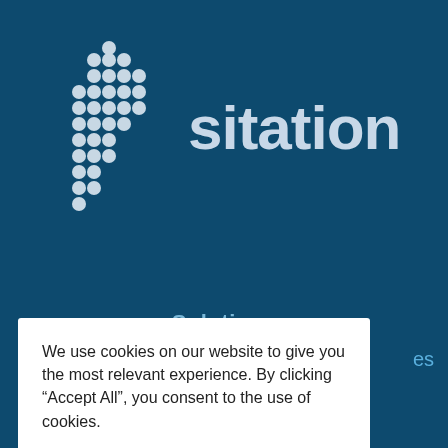[Figure (logo): Sitation company logo: dot-matrix stylized figure on left, word 'sitation' in large white/light text on dark blue background]
Solutions
es
We use cookies on our website to give you the most relevant experience. By clicking “Accept All”, you consent to the use of cookies.
Accept All
Company